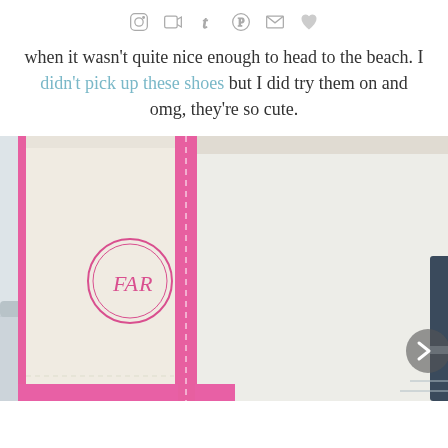[social media icons: instagram, youtube, tumblr, pinterest, email, heart]
when it wasn't quite nice enough to head to the beach. I didn't pick up these shoes but I did try them on and omg, they're so cute.
[Figure (photo): Photo of a white canvas tote bag with pink trim and a pink monogram circle reading 'FAR', with a marina/dock scene visible in the background.]